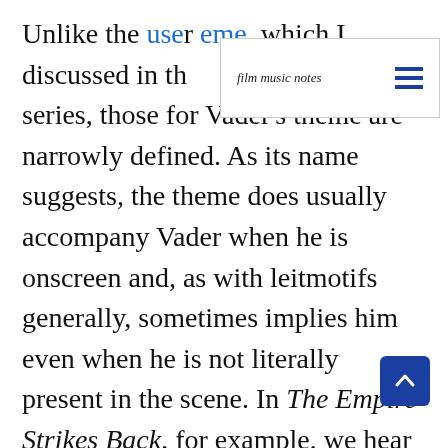Unlike the user theme, which I discussed in the [earlier part] of this series, those for Vader's theme are narrowly defined. As its name suggests, the theme does usually accompany Vader when he is onscreen and, as with leitmotifs generally, sometimes implies him even when he is not literally present in the scene. In The Empire Strikes Back, for example, we hear Vader's theme softly in the background when Obi-Wan warns Luke of being tempted by the Dark Side of the Force by rushing off to save his friends before he has completed his Jedi training. Clearly, the theme suggests that Luke may suffer the same fate as Vader by
[Figure (other): Navigation bar overlay with 'film music notes' italic logo text and a hamburger menu icon (three horizontal blue lines)]